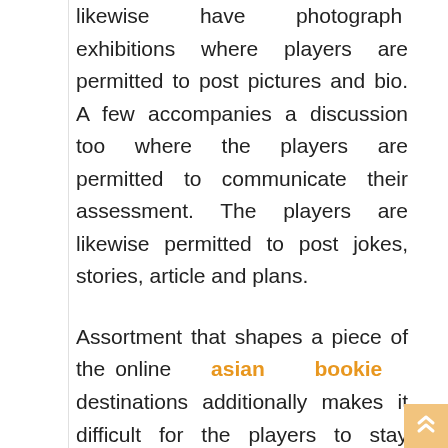likewise have photograph exhibitions where players are permitted to post pictures and bio. A few accompanies a discussion too where the players are permitted to communicate their assessment. The players are likewise permitted to post jokes, stories, article and plans.
Assortment that shapes a piece of the online asian bookie destinations additionally makes it difficult for the players to stay aware of most recent news too offers made accessible by the playing foundations. These focuses make great Casino gateways important. They give players, Casino surveys, connection